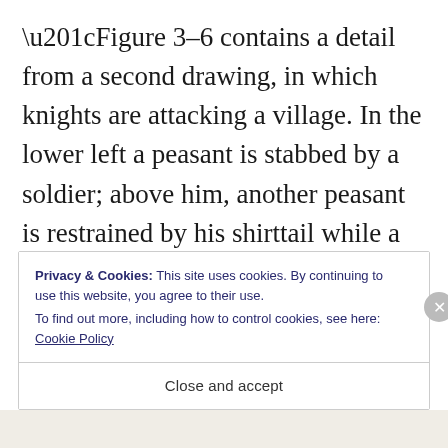“Figure 3–6 contains a detail from a second drawing, in which knights are attacking a village. In the lower left a peasant is stabbed by a soldier; above him, another peasant is restrained by his shirttail while a woman, hands in the air, cries out. At the lower right, a peasant is being stabbed in a chapel while his possessions are plundered, and nearby another peasant in fetters is cudgeled by a knight. Above them a group of
Privacy & Cookies: This site uses cookies. By continuing to use this website, you agree to their use.
To find out more, including how to control cookies, see here: Cookie Policy
Close and accept